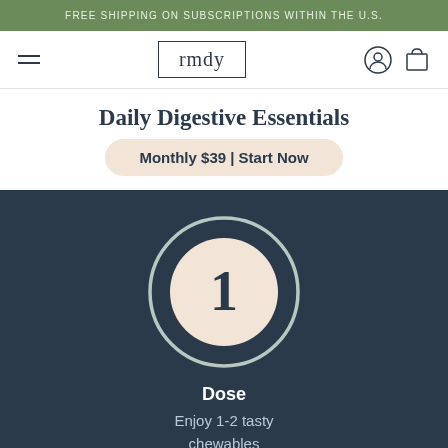FREE SHIPPING ON SUBSCRIPTIONS WITHIN THE U.S.
[Figure (logo): rmdy brand logo in a rectangle border, hamburger menu icon on left, user and cart icons on right]
Daily Digestive Essentials
Monthly $39 | Start Now
[Figure (infographic): Step 1 icon: number 1 in a cream circle inside a dark navy ring circle]
Dose
Enjoy 1-2 tasty chewables
[Figure (infographic): Step 2 icon partially visible at bottom: cream circle inside dark navy ring with utensils icon]